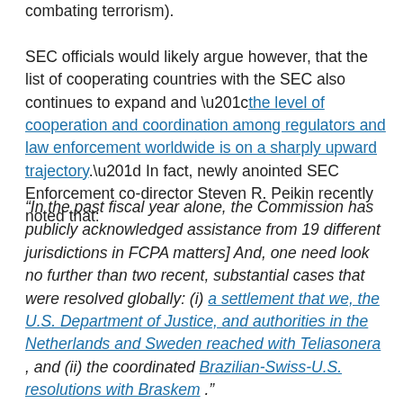combating terrorism).

SEC officials would likely argue however, that the list of cooperating countries with the SEC also continues to expand and “the level of cooperation and coordination among regulators and law enforcement worldwide is on a sharply upward trajectory.” In fact, newly anointed SEC Enforcement co-director Steven R. Peikin recently noted that:
“In the past fiscal year alone, the Commission has publicly acknowledged assistance from 19 different jurisdictions in FCPA matters] And, one need look no further than two recent, substantial cases that were resolved globally: (i) a settlement that we, the U.S. Department of Justice, and authorities in the Netherlands and Sweden reached with Teliasonera , and (ii) the coordinated Brazilian-Swiss-U.S. resolutions with Braskem .”